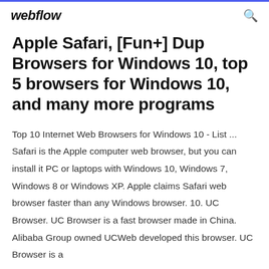webflow
Apple Safari, [Fun+] Dup Browsers for Windows 10, top 5 browsers for Windows 10, and many more programs
Top 10 Internet Web Browsers for Windows 10 - List ... Safari is the Apple computer web browser, but you can install it PC or laptops with Windows 10, Windows 7, Windows 8 or Windows XP. Apple claims Safari web browser faster than any Windows browser. 10. UC Browser. UC Browser is a fast browser made in China. Alibaba Group owned UCWeb developed this browser. UC Browser is a